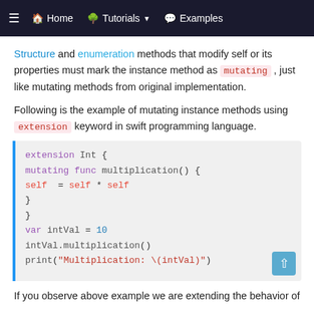≡  🏠 Home   🌲 Tutorials ▾   💬 Examples
Structure and enumeration methods that modify self or its properties must mark the instance method as mutating , just like mutating methods from original implementation.
Following is the example of mutating instance methods using extension keyword in swift programming language.
[Figure (screenshot): Code block showing Swift extension example: extension Int { mutating func multiplication() { self = self * self } } var intVal = 10 intVal.multiplication() print("Multiplication: \(intVal)")]
If you observe above example we are extending the behavior of